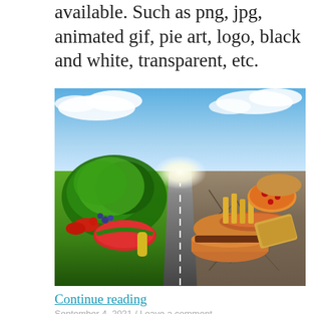available. Such as png, jpg, animated gif, pie art, logo, black and white, transparent, etc.
[Figure (photo): A road splitting two worlds: left side has lush green grass with fresh vegetables, fruits, and produce (cabbage, watermelon, corn, berries, strawberries); right side has dry cracked earth with junk food (burgers, hot dogs, fries, chips, pizza). A bright light glows at the vanishing point where the road meets the horizon under a blue sky with clouds.]
Continue reading
September 4, 2021 / Leave a comment